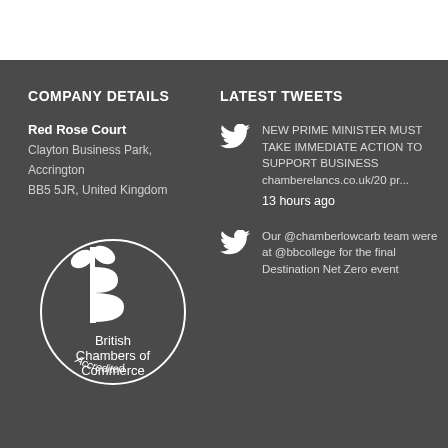COMPANY DETAILS
Red Rose Court
Clayton Business Park, Accrington
BB5 5JR, United Kingdom
[Figure (logo): British Chambers of Commerce Accredited logo — circular badge with 'B' plant/leaf symbol, text 'British Chambers of Commerce' and 'Accredited' in a circle]
LATEST TWEETS
NEW PRIME MINISTER MUST TAKE IMMEDIATE ACTION TO SUPPORT BUSINESS chamberelancs.co.uk/20 pr... 13 hours ago
Our @chamberlowcarb team were at @bbcollege for the final Destination Net Zero event